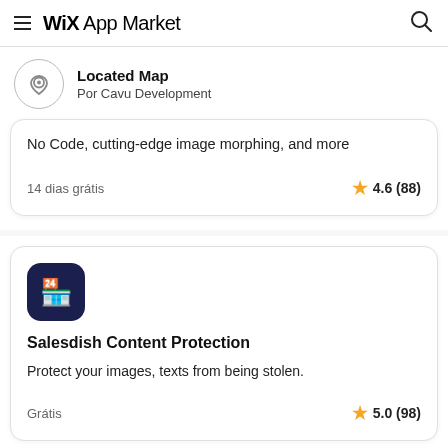Wix App Market
Located Map
Por Cavu Development
No Code, cutting-edge image morphing, and more
14 dias grátis
4.6 (88)
Salesdish Content Protection
Protect your images, texts from being stolen.
Grátis
5.0 (98)